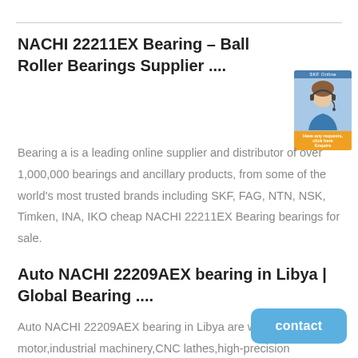NACHI 22211EX Bearing – Ball Roller Bearings Supplier ....
[Figure (photo): Advertisement banner showing a customer service representative with headset, with a blue/orange call-to-action button]
Bearing a is a leading online supplier and distributor of over 1,000,000 bearings and ancillary products, from some of the world's most trusted brands including SKF, FAG, NTN, NSK, Timken, INA, IKO cheap NACHI 22211EX Bearing bearings for sale.
Auto NACHI 22209AEX bearing in Libya | Global Bearing ....
Auto NACHI 22209AEX bearing in Libya are widely used in motor,industrial machinery,CNC lathes,high-precision processing machine,locomotive industry.E-mail:Theabearing@outlook.com.
contact